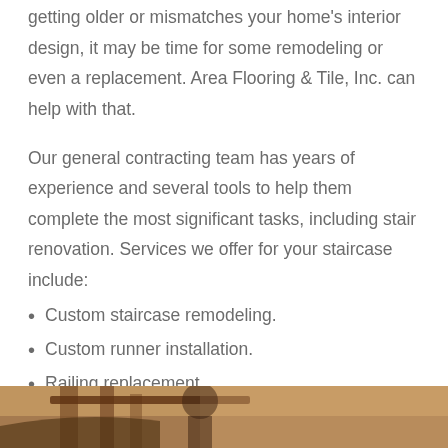getting older or mismatches your home's interior design, it may be time for some remodeling or even a replacement. Area Flooring & Tile, Inc. can help with that.
Our general contracting team has years of experience and several tools to help them complete the most significant tasks, including stair renovation. Services we offer for your staircase include:
Custom staircase remodeling.
Custom runner installation.
Railing replacement.
[Figure (photo): Photo of a staircase with wooden railing, partially visible at the bottom of the page]